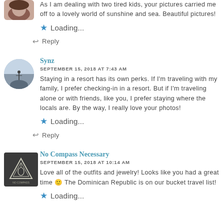[Figure (photo): Avatar image of a person with brown hair, top portion visible, cropped circle at top left]
As I am dealing with two tired kids, your pictures carried me off to a lovely world of sunshine and sea. Beautiful pictures!
★ Loading...
↩ Reply
[Figure (photo): Circular avatar of user Synz showing a person on a hilltop against cloudy sky]
Synz
SEPTEMBER 15, 2018 AT 7:43 AM
Staying in a resort has its own perks. If I'm traveling with my family, I prefer checking-in in a resort. But if I'm traveling alone or with friends, like you, I prefer staying where the locals are. By the way, I really love your photos!
★ Loading...
↩ Reply
[Figure (logo): Square dark avatar with white triangle/leaf geometric logo for No Compass Necessary]
No Compass Necessary
SEPTEMBER 15, 2018 AT 10:14 AM
Love all of the outfits and jewelry! Looks like you had a great time 🙂 The Dominican Republic is on our bucket travel list!
★ Loading...